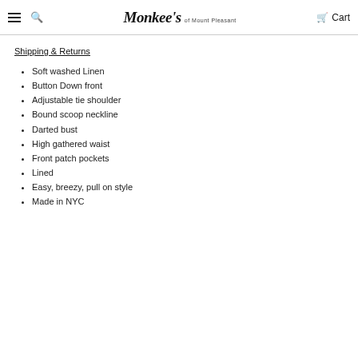Monkee's of Mount Pleasant | Cart
Shipping & Returns
Soft washed Linen
Button Down front
Adjustable tie shoulder
Bound scoop neckline
Darted bust
High gathered waist
Front patch pockets
Lined
Easy, breezy, pull on style
Made in NYC